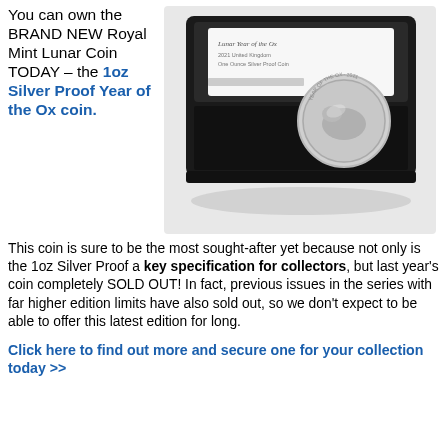You can own the BRAND NEW Royal Mint Lunar Coin TODAY – the 1oz Silver Proof Year of the Ox coin.
[Figure (photo): Royal Mint Lunar Year of the Ox 1oz Silver Proof coin displayed in a black presentation box with lid open, showing the coin leaning against the lid insert.]
This coin is sure to be the most sought-after yet because not only is the 1oz Silver Proof a key specification for collectors, but last year's coin completely SOLD OUT! In fact, previous issues in the series with far higher edition limits have also sold out, so we don't expect to be able to offer this latest edition for long.
Click here to find out more and secure one for your collection today >>